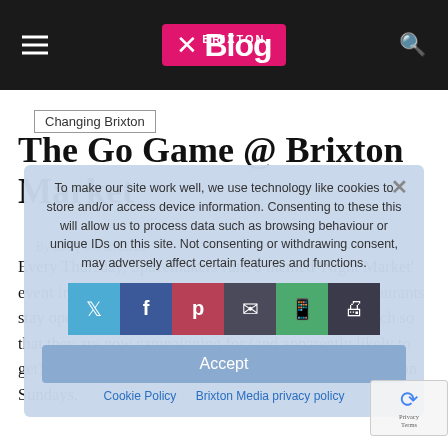Brixton Blog — navigation header
Changing Brixton
The Go Game @ Brixton Market
By Joe | March 2010
To make our site work well, we use technology like cookies to store and/or access device information. Consenting to these this will allow us to process data such as browsing behaviour or unique IDs on this site. Not consenting or withdrawing consent, may adversely affect certain features and functions.
Accept
Cookie Policy   Brixton Media privacy policy
Every Thursday, Spacemakers runs a themed 'Night Market' event in the Granville Arcade and some shops and restaurants stay open until 10pm. It's proved good business, so much so that they are now campaigning for (and apparently likely to get) late opening on Saturdays and even daytime opening on Sundays.